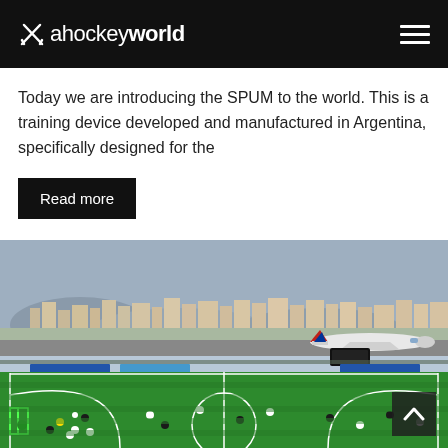ahockeyworld
Today we are introducing the SPUM to the world. This is a training device developed and manufactured in Argentina, specifically designed for the
Read more
[Figure (photo): Outdoor field hockey match on a green artificial pitch, with a British Airways aircraft taxiing on a runway in the background, city buildings and mountains visible beyond, advertising boards around the pitch.]